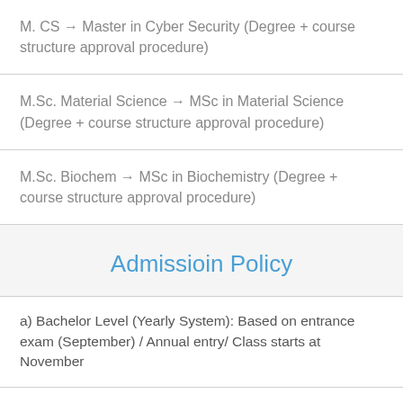M. CS → Master in Cyber Security (Degree + course structure approval procedure)
M.Sc. Material Science → MSc in Material Science (Degree + course structure approval procedure)
M.Sc. Biochem → MSc in Biochemistry (Degree + course structure approval procedure)
Admissioin Policy
a) Bachelor Level (Yearly System): Based on entrance exam (September) / Annual entry/ Class starts at November
b) Bachelor Level (Semester System): Based on